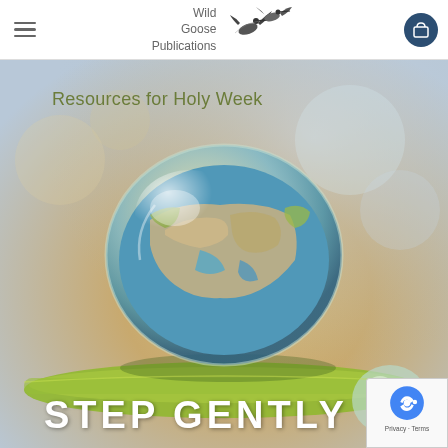[Figure (logo): Wild Goose Publications logo with flying goose illustration and text 'Wild Goose Publications']
[Figure (photo): Full-page photo of a large water droplet on a green plant stem reflecting the globe/Earth. Background is soft golden and blue bokeh. Text overlaid: 'Resources for Holy Week' in olive green at top, and 'STEP GENTLY' in large white bold letters at bottom.]
Resources for Holy Week
STEP GENTLY
[Figure (other): reCAPTCHA badge with Google reCAPTCHA logo, Privacy and Terms links]